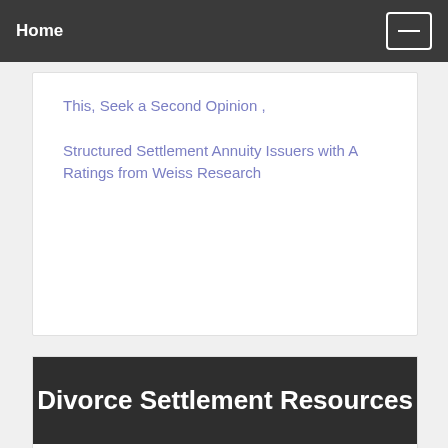Home
This, Seek a Second Opinion ,
Structured Settlement Annuity Issuers with A Ratings from Weiss Research
Divorce Settlement Resources
Divorce Structured Settlements For Secure Alimony, Child Support Payments
Divorce Settlement Ideas and Solutions